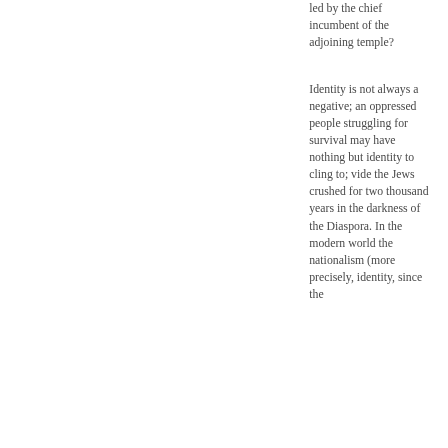led by the chief incumbent of the adjoining temple?
Identity is not always a negative; an oppressed people struggling for survival may have nothing but identity to cling to; vide the Jews crushed for two thousand years in the darkness of the Diaspora. In the modern world the nationalism (more precisely, identity, since the